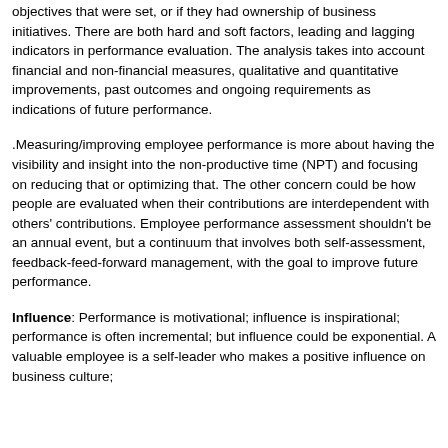objectives that were set, or if they had ownership of business initiatives. There are both hard and soft factors, leading and lagging indicators in performance evaluation. The analysis takes into account financial and non-financial measures, qualitative and quantitative improvements, past outcomes and ongoing requirements as indications of future performance.
.Measuring/improving employee performance is more about having the visibility and insight into the non-productive time (NPT) and focusing on reducing that or optimizing that. The other concern could be how people are evaluated when their contributions are interdependent with others' contributions. Employee performance assessment shouldn't be an annual event, but a continuum that involves both self-assessment, feedback-feed-forward management, with the goal to improve future performance.
Influence: Performance is motivational; influence is inspirational; performance is often incremental; but influence could be exponential. A valuable employee is a self-leader who makes a positive influence on business culture; innovates and creates future opportunities to grow.